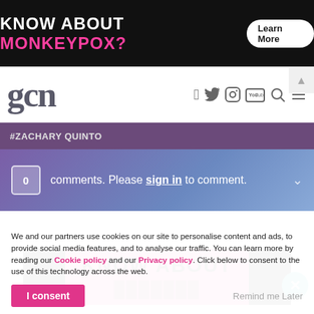[Figure (screenshot): Advertisement banner: 'KNOW ABOUT MONKEYPOX?' with Learn More button on black background]
[Figure (logo): GCN website logo in gray serif font]
gcn — navigation bar with social icons (Facebook, Twitter, Instagram, YouTube), search and menu
#ZACHARY QUINTO
0 comments. Please sign in to comment.
[Figure (screenshot): Advertisement banner showing 'KNOW ABOUT' in large black text on pink background, on black background with decorative pattern]
We and our partners use cookies on our site to personalise content and ads, to provide social media features, and to analyse our traffic. You can learn more by reading our Cookie policy and our Privacy policy. Click below to consent to the use of this technology across the web.
I consent
Remind me Later